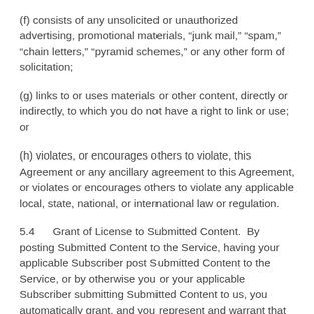(f) consists of any unsolicited or unauthorized advertising, promotional materials, “junk mail,” “spam,” “chain letters,” “pyramid schemes,” or any other form of solicitation;
(g) links to or uses materials or other content, directly or indirectly, to which you do not have a right to link or use; or
(h) violates, or encourages others to violate, this Agreement or any ancillary agreement to this Agreement, or violates or encourages others to violate any applicable local, state, national, or international law or regulation.
5.4      Grant of License to Submitted Content.  By posting Submitted Content to the Service, having your applicable Subscriber post Submitted Content to the Service, or by otherwise you or your applicable Subscriber submitting Submitted Content to us, you automatically grant, and you represent and warrant that you have the right to grant to ShulCloud, a non-exclusive, perpetual, irrevocable, sub-licensable